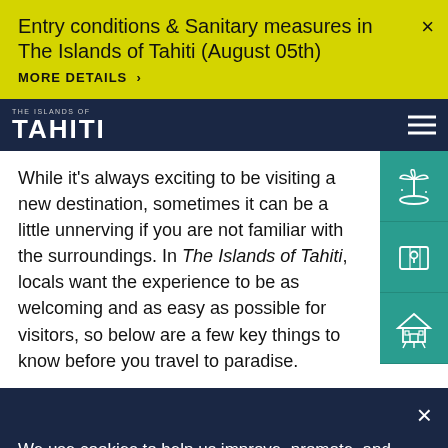Entry conditions & Sanitary measures in The Islands of Tahiti (August 05th)
MORE DETAILS ›
[Figure (logo): The Islands of Tahiti logo with small top text and bold TAHITI lettering]
While it's always exciting to be visiting a new destination, sometimes it can be a little unnerving if you are not familiar with the surroundings. In The Islands of Tahiti, locals want the experience to be as welcoming and as easy as possible for visitors, so below are a few key things to know before you travel to paradise.
[Figure (illustration): Teal sidebar with three white icon buttons: island/palm tree, map/location pin, and hut/accommodation]
We use cookies to help us improve, promote, and protect our services. By continuing to use the site, you agree to our cookie policy.